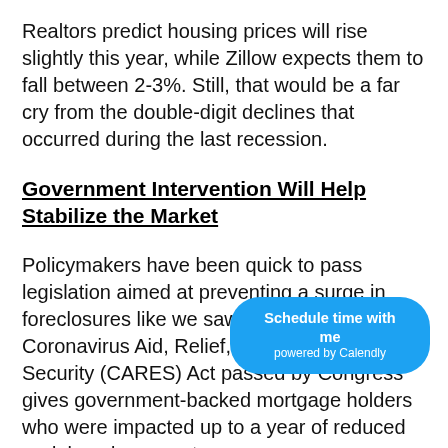Realtors predict housing prices will rise slightly this year, while Zillow expects them to fall between 2-3%. Still, that would be a far cry from the double-digit declines that occurred during the last recession.
Government Intervention Will Help Stabilize the Market
Policymakers have been quick to pass legislation aimed at preventing a surge in foreclosures like we saw in 2008. The Coronavirus Aid, Relief, and Economic Security (CARES) Act passed by Congress gives government-backed mortgage holders who were impacted up to a year of reduced or delayed payments.
[Figure (other): Calendly scheduling button overlay: 'Schedule time with me powered by Calendly' in white text on a blue rounded pill-shaped button.]